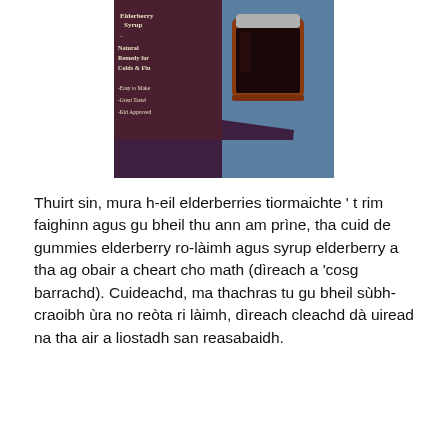[Figure (photo): Photo of a jar of dark elderberry syrup on a blue surface, beside a dark purple/maroon card reading 'Elderberry Syrup - Natural Remedy for Colds & Flu - Easy to Make - Great Taste! - Kid Approved']
Thuirt sin, mura h-eil elderberries tiormaichte ' t rim faighinn agus gu bheil thu ann am prìne, tha cuid de gummies elderberry ro-làimh agus syrup elderberry a tha ag obair a cheart cho math (dìreach a 'cosg barrachd). Cuideachd, ma thachras tu gu bheil sùbh-craoibh ùra no reòta ri làimh, dìreach cleachd dà uiread na tha air a liostadh san reasabaidh.